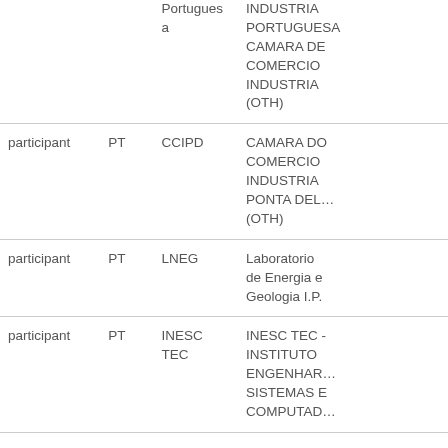| Role | Country | Short Name | Full Name |
| --- | --- | --- | --- |
|  |  | Portuguesa | INDUSTRIA PORTUGUESA CAMARA DE COMERCIO INDUSTRIA (OTH) |
| participant | PT | CCIPD | CAMARA DO COMERCIO INDUSTRIA PONTA DEL… (OTH) |
| participant | PT | LNEG | Laboratorio de Energia e Geologia I.P. |
| participant | PT | INESC TEC | INESC TEC - INSTITUTO ENGENHAR… SISTEMAS E COMPUTAD… |